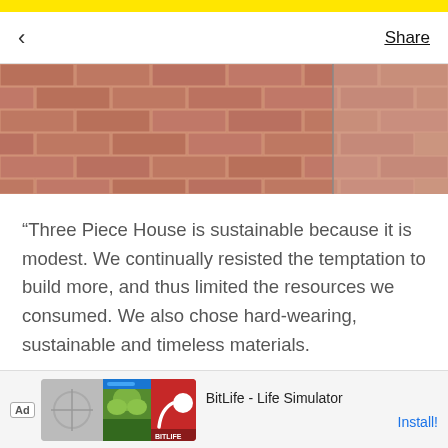< Share
[Figure (photo): Close-up photo of a brick or tile wall with reddish-brown rectangular tiles arranged in a horizontal pattern, with a lighter section visible on the right side.]
“Three Piece House is sustainable because it is modest. We continually resisted the temptation to build more, and thus limited the resources we consumed. We also chose hard-wearing, sustainable and timeless materials.
[Figure (photo): Interior photo showing a room with beige/cream walls and a dark walnut wood panel or headboard against the wall.]
[Figure (other): Advertisement for BitLife - Life Simulator app with app icon images and Install button.]